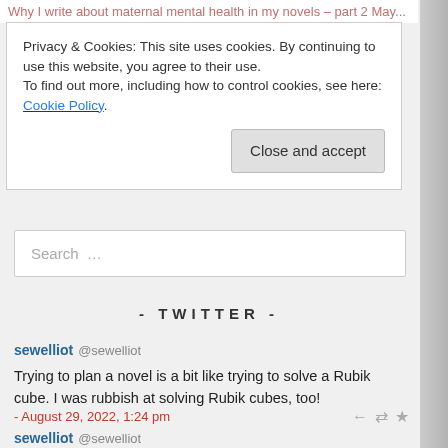Why I write about maternal mental health in my novels – part 2 May...
Privacy & Cookies: This site uses cookies. By continuing to use this website, you agree to their use.
To find out more, including how to control cookies, see here: Cookie Policy.
Close and accept
Search …
- TWITTER -
sewelliot @sewelliot
Trying to plan a novel is a bit like trying to solve a Rubik cube. I was rubbish at solving Rubik cubes, too!
- August 29, 2022, 1:24 pm
sewelliot @sewelliot